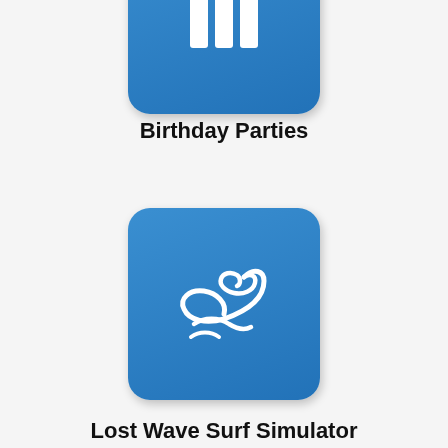[Figure (illustration): Blue rounded square icon with white vertical bars (birthday party/table icon), partially visible at top]
Birthday Parties
[Figure (illustration): Blue rounded square icon with white wave/surf symbol representing Lost Wave Surf Simulator]
Lost Wave Surf Simulator
[Figure (illustration): Blue rounded square icon with white clock/timer symbol with arrow representing Rates & Hours]
Rates & Hours